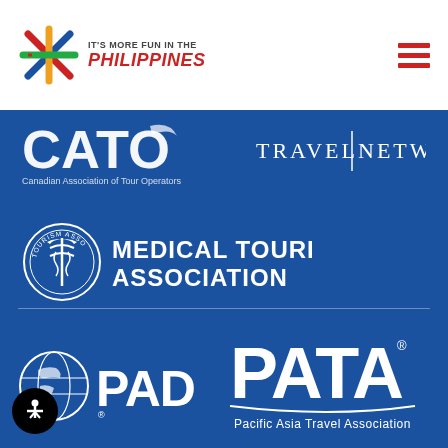[Figure (logo): It's More Fun in the Philippines logo with colorful starburst/cross icon and text]
[Figure (logo): Hamburger menu icon (three red horizontal lines)]
[Figure (logo): CATO - Canadian Association of Tour Operators logo (partially visible, white on blue)]
[Figure (logo): Travel Network logo (white text on blue background)]
[Figure (logo): Medical Tourism Association logo with caduceus emblem and white text on blue]
[Figure (logo): PADI logo with globe icon, white on blue background]
[Figure (logo): PATA - Pacific Asia Travel Association logo, white on blue background]